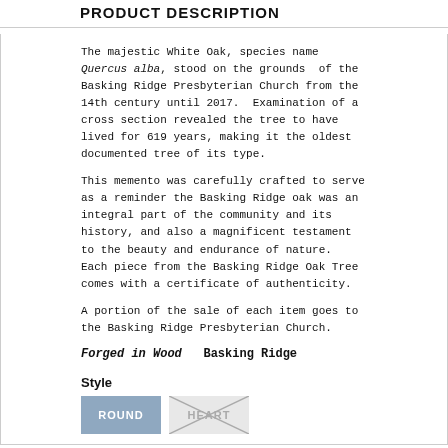PRODUCT DESCRIPTION
The majestic White Oak, species name Quercus alba, stood on the grounds of the Basking Ridge Presbyterian Church from the 14th century until 2017. Examination of a cross section revealed the tree to have lived for 619 years, making it the oldest documented tree of its type.
This memento was carefully crafted to serve as a reminder the Basking Ridge oak was an integral part of the community and its history, and also a magnificent testament to the beauty and endurance of nature. Each piece from the Basking Ridge Oak Tree comes with a certificate of authenticity.
A portion of the sale of each item goes to the Basking Ridge Presbyterian Church.
Forged in Wood   Basking Ridge
Style
[Figure (other): Two style option buttons: ROUND (blue/selected) and HEART (grey with X, unselected)]